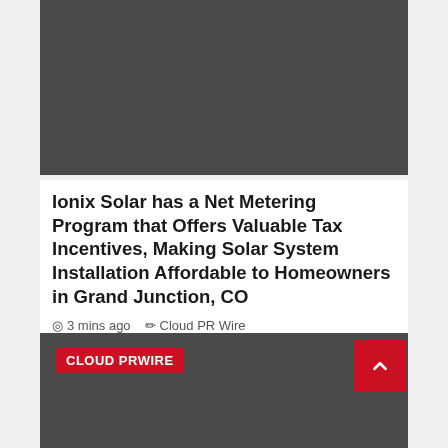[Figure (photo): Dark gray rectangular image placeholder at top of page]
Ionix Solar has a Net Metering Program that Offers Valuable Tax Incentives, Making Solar System Installation Affordable to Homeowners in Grand Junction, CO
3 mins ago   Cloud PR Wire
[Figure (screenshot): Dark gray footer area with CLOUD PRWIRE red badge label and a red scroll-to-top button with chevron arrow]